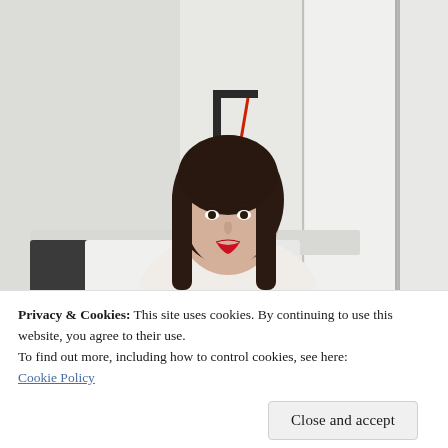[Figure (photo): A woman with long dark hair and red lipstick sitting on a bed in a minimalist white room. A wall-mounted lamp with a red cord hangs behind her. White wardrobe panels visible on the right.]
Privacy & Cookies: This site uses cookies. By continuing to use this website, you agree to their use.
To find out more, including how to control cookies, see here:
Cookie Policy
Close and accept
[Figure (photo): Bottom portion of another photo partially visible at the bottom of the page, appears to show red and dark elements.]